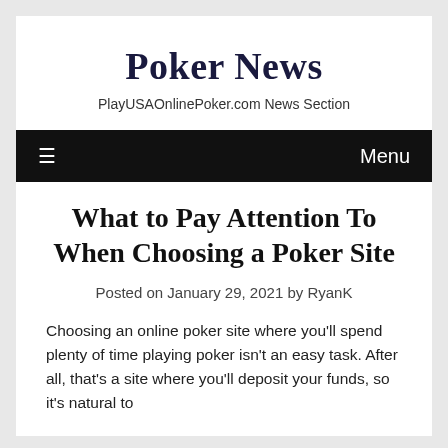Poker News
PlayUSAOnlinePoker.com News Section
What to Pay Attention To When Choosing a Poker Site
Posted on January 29, 2021 by RyanK
Choosing an online poker site where you'll spend plenty of time playing poker isn't an easy task. After all, that's a site where you'll deposit your funds, so it's natural to